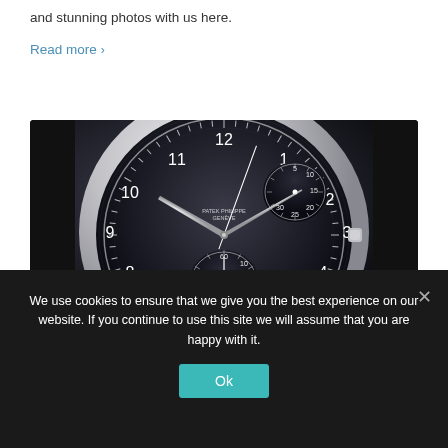and stunning photos with us here.
Read more >
[Figure (photo): Close-up photo of a Patek Philippe Reference 5370P Chronograph watch with black dial and silver case, showing sub-dials and chronograph complications]
Why I Bought It: Patek Philippe Reference 5370P Chronograph – Reprise
We use cookies to ensure that we give you the best experience on our website. If you continue to use this site we will assume that you are happy with it.
Ok